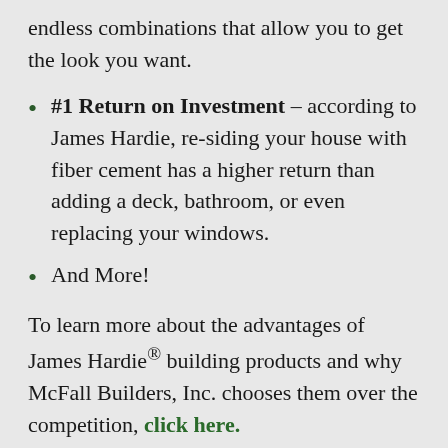endless combinations that allow you to get the look you want.
#1 Return on Investment – according to James Hardie, re-siding your house with fiber cement has a higher return than adding a deck, bathroom, or even replacing your windows.
And More!
To learn more about the advantages of James Hardie® building products and why McFall Builders, Inc. chooses them over the competition, click here.